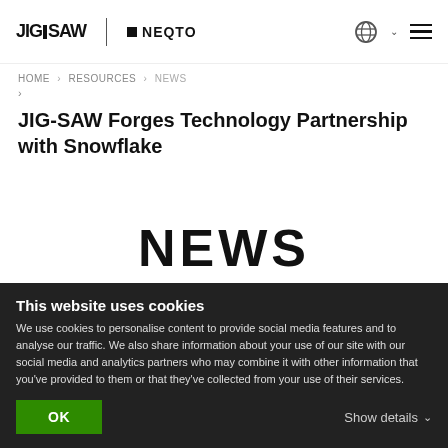JIG-SAW | NEQTO
HOME > RESOURCES > NEWS > JIG-SAW Forges Technology Partnership with Snowflake
JIG-SAW Forges Technology Partnership with Snowflake
NEWS
CATEGORY
This website uses cookies
We use cookies to personalise content to provide social media features and to analyse our traffic. We also share information about your use of our site with our social media and analytics partners who may combine it with other information that you've provided to them or that they've collected from your use of their services.
OK
Show details